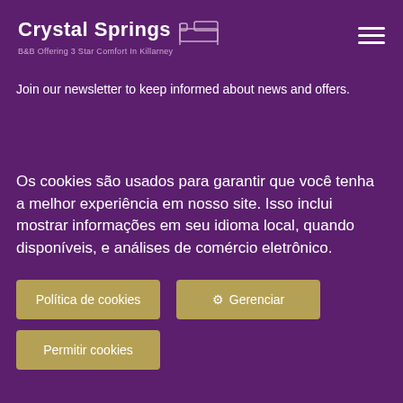[Figure (logo): Crystal Springs B&B logo with bed icon, white text on purple background]
Join our newsletter to keep informed about news and offers.
Os cookies são usados para garantir que você tenha a melhor experiência em nosso site. Isso inclui mostrar informações em seu idioma local, quando disponíveis, e análises de comércio eletrônico.
Política de cookies
Gerenciar
Permitir cookies